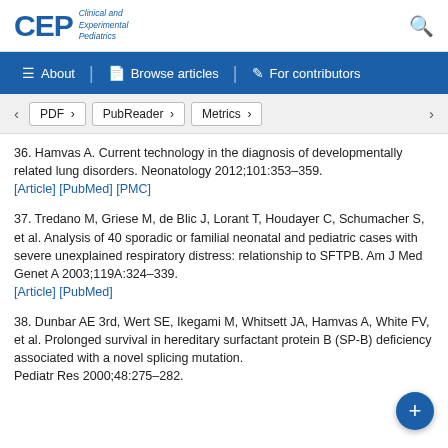CEP Clinical and Experimental Pediatrics
36. Hamvas A. Current technology in the diagnosis of developmentally related lung disorders. Neonatology 2012;101:353–359. [Article] [PubMed] [PMC]
37. Tredano M, Griese M, de Blic J, Lorant T, Houdayer C, Schumacher S, et al. Analysis of 40 sporadic or familial neonatal and pediatric cases with severe unexplained respiratory distress: relationship to SFTPB. Am J Med Genet A 2003;119A:324–339. [Article] [PubMed]
38. Dunbar AE 3rd, Wert SE, Ikegami M, Whitsett JA, Hamvas A, White FV, et al. Prolonged survival in hereditary surfactant protein B (SP-B) deficiency associated with a novel splicing mutation. Pediatr Res 2000;48:275–282.